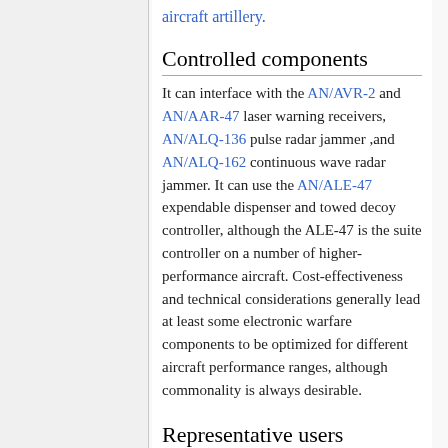aircraft artillery.
Controlled components
It can interface with the AN/AVR-2 and AN/AAR-47 laser warning receivers, AN/ALQ-136 pulse radar jammer ,and AN/ALQ-162 continuous wave radar jammer. It can use the AN/ALE-47 expendable dispenser and towed decoy controller, although the ALE-47 is the suite controller on a number of higher-performance aircraft. Cost-effectiveness and technical considerations generally lead at least some electronic warfare components to be optimized for different aircraft performance ranges, although commonality is always desirable.
Representative users